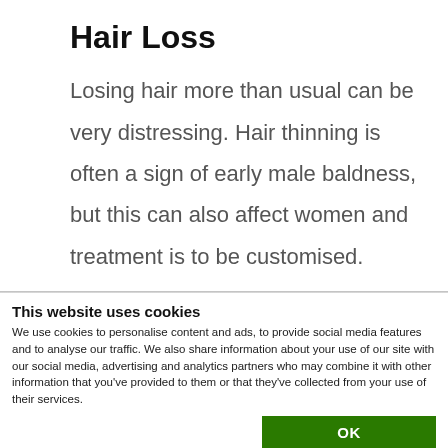Hair Loss
Losing hair more than usual can be very distressing. Hair thinning is often a sign of early male baldness, but this can also affect women and treatment is to be customised.
This website uses cookies
We use cookies to personalise content and ads, to provide social media features and to analyse our traffic. We also share information about your use of our site with our social media, advertising and analytics partners who may combine it with other information that you've provided to them or that they've collected from your use of their services.
OK
Necessary  Preferences  Statistics  Marketing  Show details